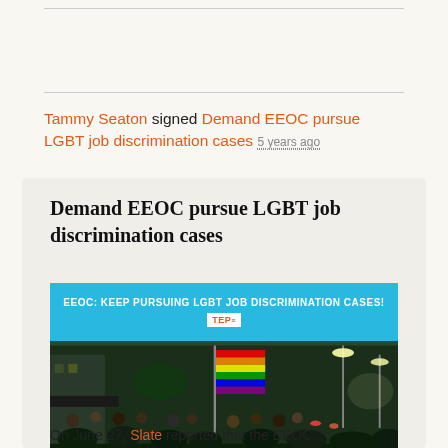Tammy Seaton signed Demand EEOC pursue LGBT job discrimination cases 5 years ago
Demand EEOC pursue LGBT job discrimination cases
[Figure (photo): Promotional image with cyan banner reading 'EEOC: KEEP PURSUING LGBT JOB DISCRIMINATION CASES!' with TEP logo, above a nighttime crowd photo showing people with a rainbow flag at what appears to be an LGBT rights rally or parade.]
On June 27, Slate reported that the EEOC...